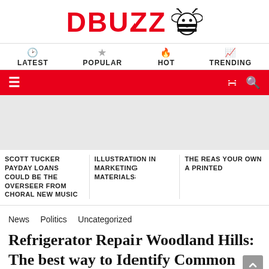[Figure (logo): DBUZZ logo with bee icon in red]
LATEST   POPULAR   HOT   TRENDING
[Figure (screenshot): Red navigation bar with hamburger menu, share and search icons]
[Figure (screenshot): Gray advertisement strip]
SCOTT TUCKER PAYDAY LOANS COULD BE THE OVERSEER FROM CHORAL NEW MUSIC
ILLUSTRATION IN MARKETING MATERIALS
THE REAS YOUR OWN A PRINTED
News   Politics   Uncategorized
Refrigerator Repair Woodland Hills: The best way to Identify Common Reparation and Defects or More